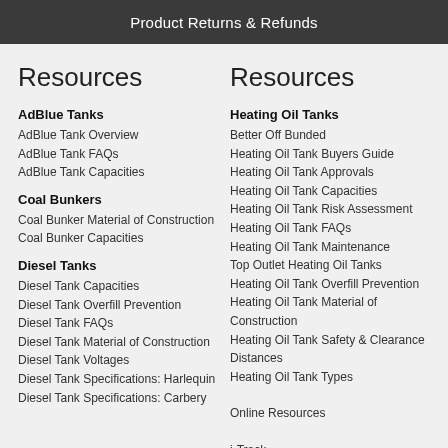Product Returns & Refunds
Resources
AdBlue Tanks
AdBlue Tank Overview
AdBlue Tank FAQs
AdBlue Tank Capacities
Coal Bunkers
Coal Bunker Material of Construction
Coal Bunker Capacities
Diesel Tanks
Diesel Tank Capacities
Diesel Tank Overfill Prevention
Diesel Tank FAQs
Diesel Tank Material of Construction
Diesel Tank Voltages
Diesel Tank Specifications: Harlequin
Diesel Tank Specifications: Carbery
Resources
Heating Oil Tanks
Better Off Bunded
Heating Oil Tank Buyers Guide
Heating Oil Tank Approvals
Heating Oil Tank Capacities
Heating Oil Tank Risk Assessment
Heating Oil Tank FAQs
Heating Oil Tank Maintenance
Top Outlet Heating Oil Tanks
Heating Oil Tank Overfill Prevention
Heating Oil Tank Material of Construction
Heating Oil Tank Safety & Clearance Distances
Heating Oil Tank Types
Online Resources
i-Track